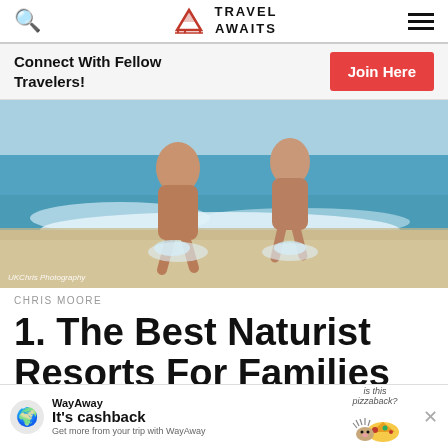Travel Awaits
Connect With Fellow Travelers! Join Here
[Figure (photo): Two people running into the ocean waves on a beach, photographed from behind. Photo credit: UKChris Photography]
UKChris Photography
CHRIS MOORE
1. The Best Naturist Resorts For Families
[Figure (infographic): WayAway advertisement banner: 'It's cashback — Get more from your trip with WayAway' with pizza mascot illustration and 'is this pizzaback?' text]